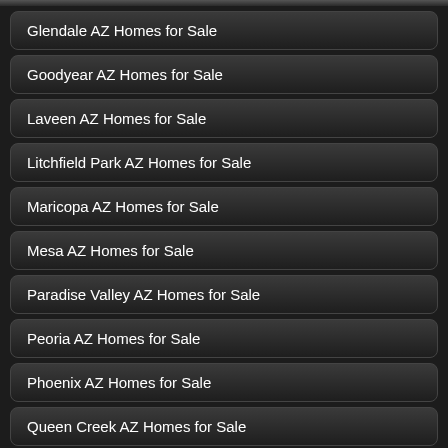Glendale AZ Homes for Sale
Goodyear AZ Homes for Sale
Laveen AZ Homes for Sale
Litchfield Park AZ Homes for Sale
Maricopa AZ Homes for Sale
Mesa AZ Homes for Sale
Paradise Valley AZ Homes for Sale
Peoria AZ Homes for Sale
Phoenix AZ Homes for Sale
Queen Creek AZ Homes for Sale
Rio Verde AZ Homes for Sale
San Tan Valley AZ Homes for Sale
Scottsdale AZ Homes for Sale